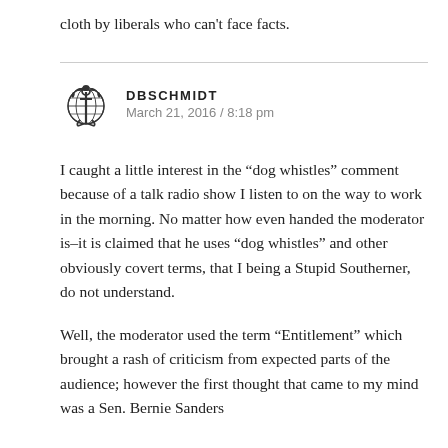cloth by liberals who can’t face facts.
DBSCHMIDT
March 21, 2016 / 8:18 pm
I caught a little interest in the “dog whistles” comment because of a talk radio show I listen to on the way to work in the morning. No matter how even handed the moderator is–it is claimed that he uses “dog whistles” and other obviously covert terms, that I being a Stupid Southerner, do not understand.
Well, the moderator used the term “Entitlement” which brought a rash of criticism from expected parts of the audience; however the first thought that came to my mind was a Sen. Bernie Sanders